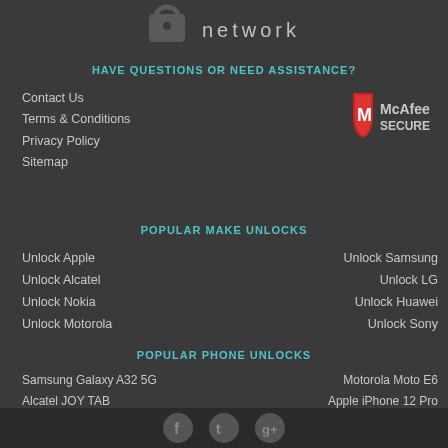[Figure (logo): Partial lock icon and 'network' text logo at top]
HAVE QUESTIONS OR NEED ASSISTANCE?
Contact Us
Terms & Conditions
Privacy Policy
Sitemap
[Figure (logo): McAfee SECURE badge with red shield and M logo]
POPULAR MAKE UNLOCKS
Unlock Apple
Unlock Alcatel
Unlock Nokia
Unlock Motorola
Unlock Samsung
Unlock LG
Unlock Huawei
Unlock Sony
POPULAR PHONE UNLOCKS
Samsung Galaxy A32 5G
Alcatel JOY TAB
Apple iPhone 13 Pro Max
Apple iPhone 11
Motorola Moto E6
Apple iPhone 12 Pro
Samsung Galaxy A12
Coolpad CP3705A
Social media icons: Facebook, Twitter, Google+